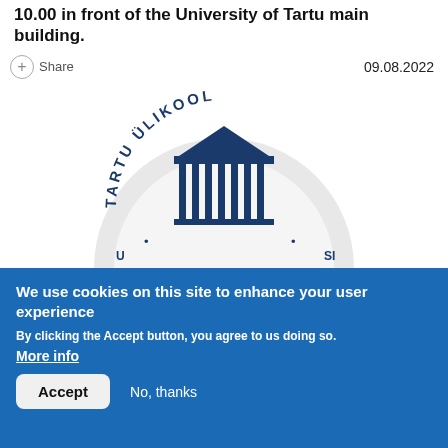10.00 in front of the University of Tartu main building.
Share  09.08.2022
[Figure (logo): University of Tartu (Tartu Ülikool) circular logo with a classical building with columns, text reading TARTU ÜLIKOOL around the top arc]
We use cookies on this site to enhance your user experience
By clicking the Accept button, you agree to us doing so.
More info
Accept  No, thanks